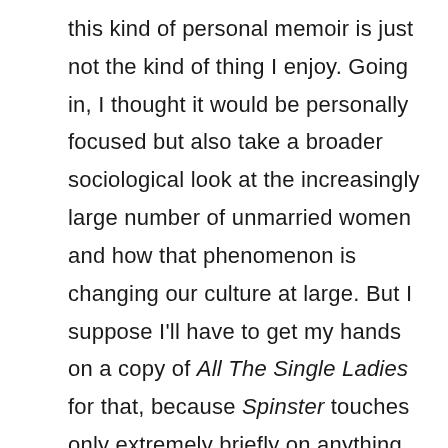this kind of personal memoir is just not the kind of thing I enjoy. Going in, I thought it would be personally focused but also take a broader sociological look at the increasingly large number of unmarried women and how that phenomenon is changing our culture at large. But I suppose I'll have to get my hands on a copy of All The Single Ladies for that, because Spinster touches only extremely briefly on anything outside of her life and the lives of her inspirations. Like with many of these kinds of books, I found myself wondering when I finished it why I'm supposed to care, exactly, about the apartments Bolick lives in or her love life or her